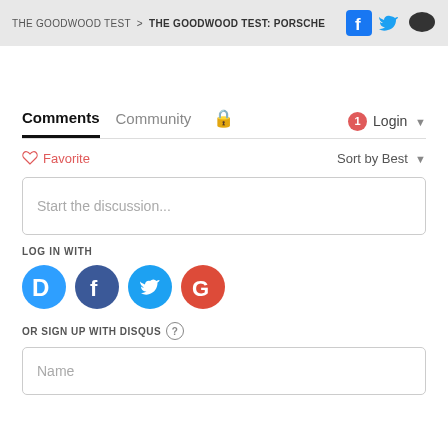THE GOODWOOD TEST > THE GOODWOOD TEST: PORSCHE
Comments | Community | Login
Favorite | Sort by Best
Start the discussion...
LOG IN WITH
[Figure (logo): Social login icons: Disqus (blue D), Facebook (dark blue f), Twitter (cyan bird), Google (red G)]
OR SIGN UP WITH DISQUS
Name